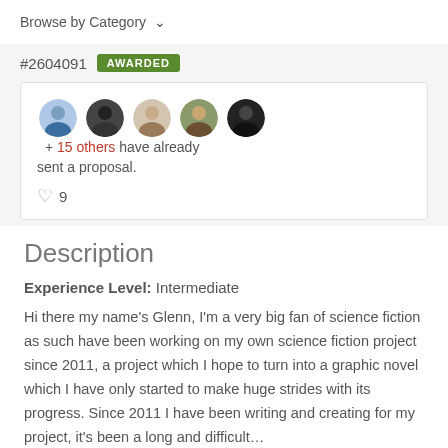Browse by Category
#2604091  AWARDED
+ 15 others have already sent a proposal.
♥ 9
Description
Experience Level: Intermediate
Hi there my name's Glenn, I'm a very big fan of science fiction as such have been working on my own science fiction project since 2011, a project which I hope to turn into a graphic novel which I have only started to make huge strides with its progress. Since 2011 I have been writing and creating for my project, it's been a long and difficult…